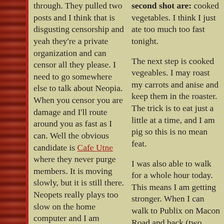through. They pulled two posts and I think that is disgusting censorship and yeah they're a private organization and can censor all they please. I need to go somewhere else to talk about Neopia. When you censor you are damage and I'll route around you as fast as I can. Well the obvious candidate is Cafe Utne where they never purge members. It is moving slowly, but it is still there. Neopets really plays too slow on the home computer and I am getting frustrated with how much time it takes to put up a Neohome.
I have some Neopian style fiction at my Neopian Samizdat site. I also have a random number generator
second shot are: cooked vegetables. I think I just ate too much too fast tonight.
The next step is cooked vegeables. I may roast my carrots and anise and keep them in the roaster. The trick is to eat just a little at a time, and I am pig so this is no mean feat.
I was also able to walk for a whole hour today. This means I am getting stronger. When I can walk to Publix on Macon Road and back (two miles each way) I will be strong enough to go back to work. I'm going to try for that tomorrow.
So you want to know the whole story. Well even if you don't you are going to